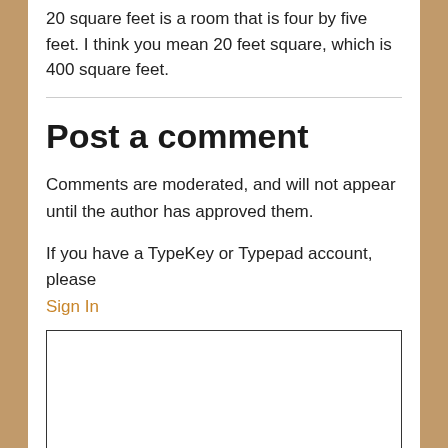20 square feet is a room that is four by five feet. I think you mean 20 feet square, which is 400 square feet.
Post a comment
Comments are moderated, and will not appear until the author has approved them.
If you have a TypeKey or Typepad account, please Sign In